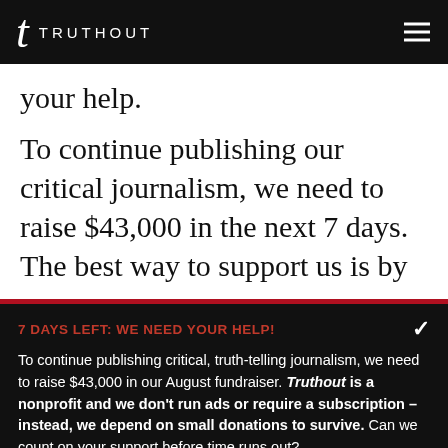TRUTHOUT
your help.
To continue publishing our critical journalism, we need to raise $43,000 in the next 7 days. The best way to support us is by
7 DAYS LEFT: WE NEED YOUR HELP!
To continue publishing critical, truth-telling journalism, we need to raise $43,000 in our August fundraiser. Truthout is a nonprofit and we don't run ads or require a subscription – instead, we depend on small donations to survive. Can we count on your support before time runs out?
DONATE   DONATE MONTHLY